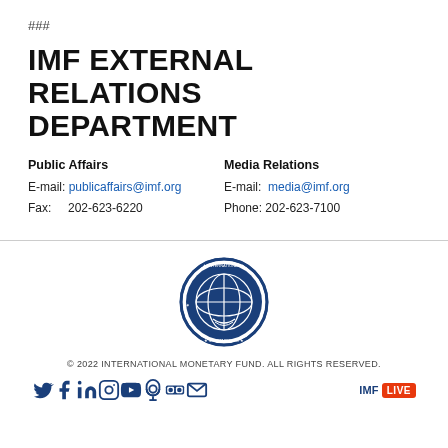###
IMF EXTERNAL RELATIONS DEPARTMENT
Public Affairs
E-mail: publicaffairs@imf.org
Fax: 202-623-6220

Media Relations
E-mail: media@imf.org
Phone: 202-623-7100
[Figure (logo): International Monetary Fund circular seal/logo in blue]
© 2022 INTERNATIONAL MONETARY FUND. ALL RIGHTS RESERVED.
[Figure (infographic): Social media icons row: Twitter, Facebook, LinkedIn, Instagram, YouTube, Podcast, Flickr, Email. IMF LIVE badge at right.]